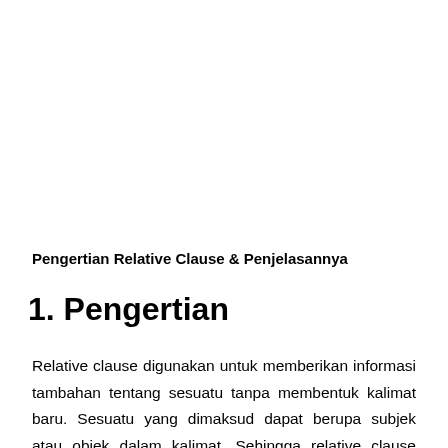Pengertian Relative Clause & Penjelasannya
1. Pengertian
Relative clause digunakan untuk memberikan informasi tambahan tentang sesuatu tanpa membentuk kalimat baru. Sesuatu yang dimaksud dapat berupa subjek atau objek dalam kalimat. Sehingga relative clause memiliki posisi